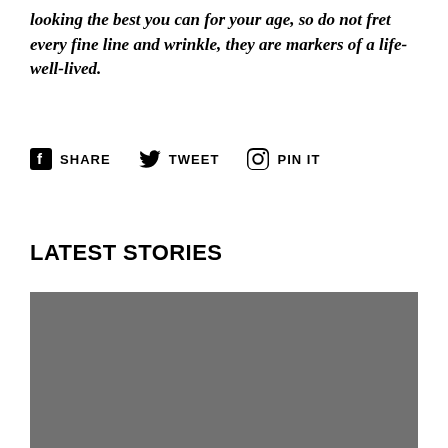looking the best you can for your age, so do not fret every fine line and wrinkle, they are markers of a life-well-lived.
SHARE   TWEET   PIN IT
LATEST STORIES
[Figure (photo): Gray placeholder image for a latest stories article thumbnail]